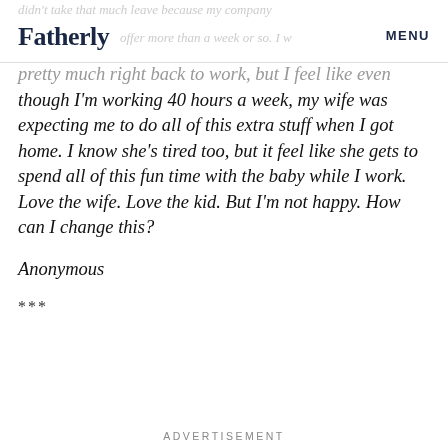Fatherly | MENU
pretty much right back to work, but I feel like even though I'm working 40 hours a week, my wife was expecting me to do all of this extra stuff when I got home. I know she's tired too, but it feel like she gets to spend all of this fun time with the baby while I work. Love the wife. Love the kid. But I'm not happy. How can I change this?
Anonymous
***
ADVERTISEMENT